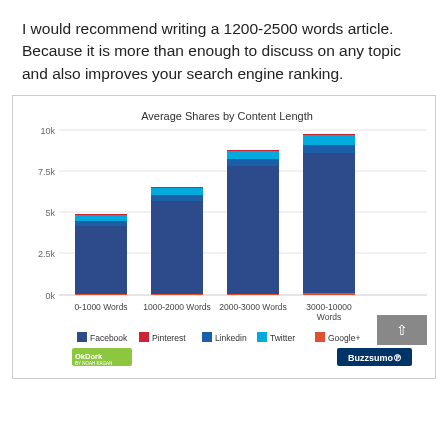I would recommend writing a 1200-2500 words article. Because it is more than enough to discuss on any topic and also improves your search engine ranking.
[Figure (stacked-bar-chart): Average Shares by Content Length]